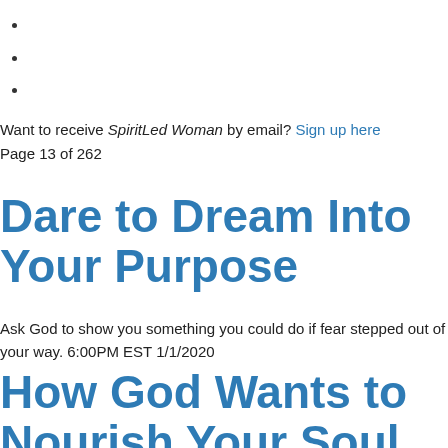Want to receive SpiritLed Woman by email? Sign up here
Page 13 of 262
Dare to Dream Into Your Purpose
Ask God to show you something you could do if fear stepped out of your way. 6:00PM EST 1/1/2020
How God Wants to Nourish Your Soul in This New Year